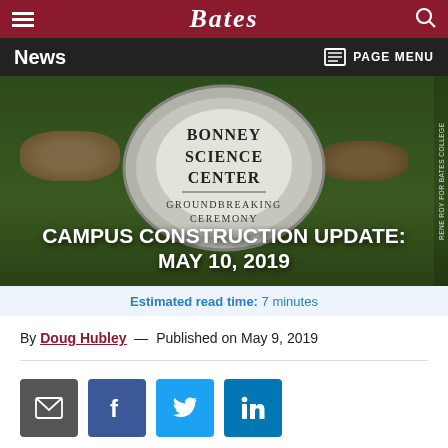Bates
News  PAGE MENU
[Figure (photo): Stone groundbreaking ceremony marker for Bonney Science Center, reading BONNEY SCIENCE CENTER GROUNDBREAKING CEREMONY, surrounded by rocks and green grass]
CAMPUS CONSTRUCTION UPDATE: MAY 10, 2019
Estimated read time: 7 minutes
By Doug Hubley — Published on May 9, 2019